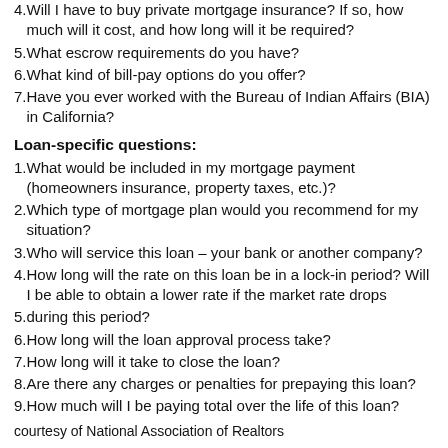4. Will I have to buy private mortgage insurance? If so, how much will it cost, and how long will it be required?
5. What escrow requirements do you have?
6. What kind of bill-pay options do you offer?
7. Have you ever worked with the Bureau of Indian Affairs (BIA) in California?
Loan-specific questions:
1. What would be included in my mortgage payment (homeowners insurance, property taxes, etc.)?
2. Which type of mortgage plan would you recommend for my situation?
3. Who will service this loan – your bank or another company?
4. How long will the rate on this loan be in a lock-in period? Will I be able to obtain a lower rate if the market rate drops
5. during this period?
6. How long will the loan approval process take?
7. How long will it take to close the loan?
8. Are there any charges or penalties for prepaying this loan?
9. How much will I be paying total over the life of this loan?
courtesy of National Association of Realtors